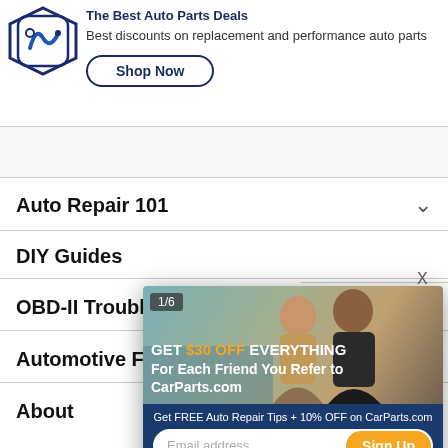[Figure (logo): CarParts.com tag/logo icon in dark blue with swirl]
Best discounts on replacement and performance auto parts
Shop Now
Auto Repair 101
DIY Guides
OBD-II Trouble
Automotive Fea
About
[Figure (infographic): Popup ad overlay showing two people in a car, with text: 1/6, GET $30 OFF EVERYTHING For Each Friend You Refer to CarParts.com. Bottom section: Get FREE Auto Repair Tips + 10% OFF on CarParts.com, email signup form with Sign Up button.]